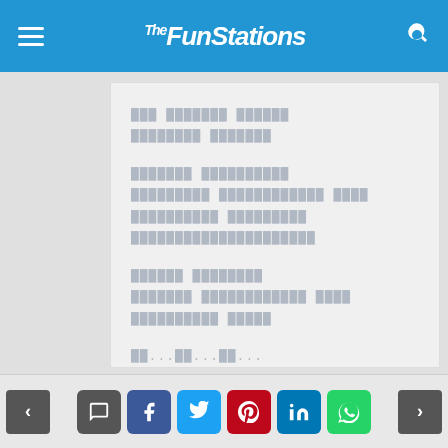The FunStations - website header with hamburger menu and search icon
[redacted content block 1 - multiple lines of obscured text]
[redacted content block 2 - multiple lines of obscured text]
[redacted content block 3 - multiple lines of obscured text]
[redacted content block 4 - partial text with ellipses]
Navigation arrows and social share buttons: comment, facebook, twitter, pinterest, linkedin, whatsapp